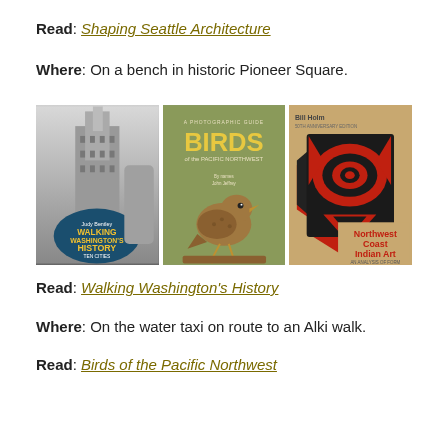Read: Shaping Seattle Architecture
Where: On a bench in historic Pioneer Square.
[Figure (photo): Three book covers side by side: Walking Washington's History by Judy Bentley (Ten Cities), Birds of the Pacific Northwest (A Photographic Guide), and Northwest Coast Indian Art by Bill Holm (An Analysis of Form).]
Read: Walking Washington's History
Where: On the water taxi on route to an Alki walk.
Read: Birds of the Pacific Northwest